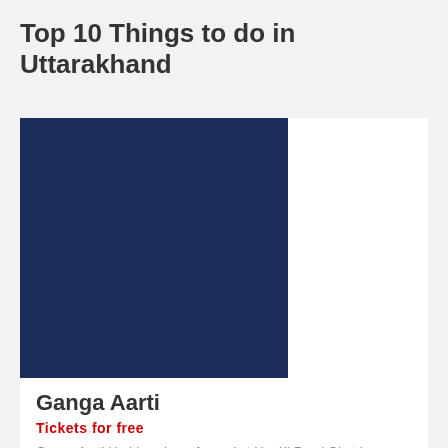Top 10 Things to do in Uttarakhand
[Figure (photo): Dark navy blue placeholder image for Ganga Aarti photo]
Ganga Aarti
Tickets for free
Ganga Aarti Haridwar is performed at Har Ki Pauri Ghat in Haridwar. Ganga Aarti Haridwar is one of the most...